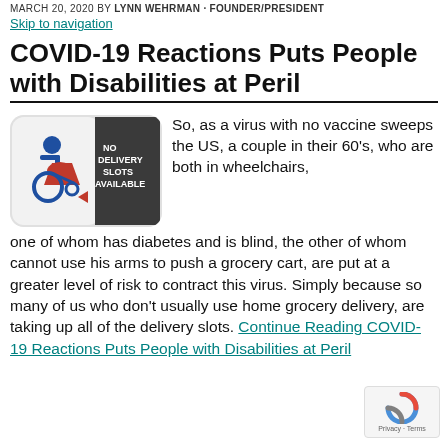MARCH 20, 2020 BY LYNN WEHRMAN · FOUNDER/PRESIDENT
Skip to navigation
COVID-19 Reactions Puts People with Disabilities at Peril
[Figure (illustration): Disability accessibility icon with red bag, next to a dark grey sign reading 'NO DELIVERY SLOTS AVAILABLE']
So, as a virus with no vaccine sweeps the US, a couple in their 60's, who are both in wheelchairs, one of whom has diabetes and is blind, the other of whom cannot use his arms to push a grocery cart, are put at a greater level of risk to contract this virus. Simply because so many of us who don't usually use home grocery delivery, are taking up all of the delivery slots. Continue Reading COVID-19 Reactions Puts People with Disabilities at Peril